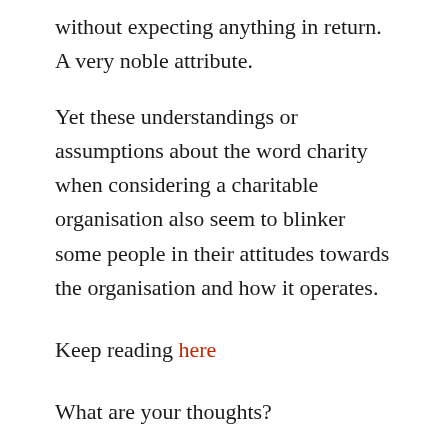without expecting anything in return.  A very noble attribute.
Yet these understandings or assumptions about the word charity when considering a charitable organisation also seem to blinker some people in their attitudes towards the organisation and how it operates.
Keep reading here
What are your thoughts?